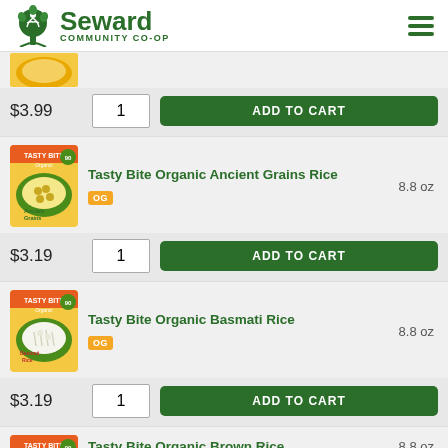Seward Community Co-op
[Figure (screenshot): Partially visible product image at top of list]
$3.99
ADD TO CART
Tasty Bite Organic Ancient Grains Rice  8.8 oz  OG
$3.19
ADD TO CART
Tasty Bite Organic Basmati Rice  8.8 oz  OG
$3.19
ADD TO CART
Tasty Bite Organic Brown Rice  8.8 oz  OG